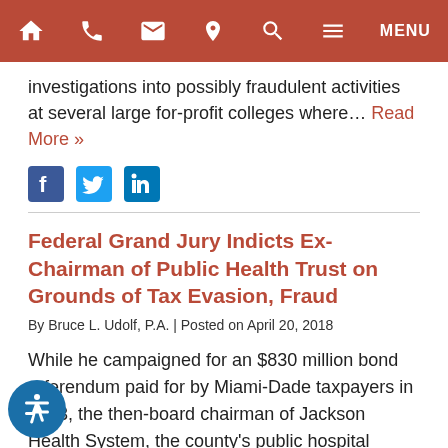Navigation bar with home, phone, email, location, search, menu icons
investigations into possibly fraudulent activities at several large for-profit colleges where... Read More »
[Figure (other): Social media share icons: Facebook, Twitter, LinkedIn]
Federal Grand Jury Indicts Ex-Chairman of Public Health Trust on Grounds of Tax Evasion, Fraud
By Bruce L. Udolf, P.A. | Posted on April 20, 2018
While he campaigned for an $830 million bond referendum paid for by Miami-Dade taxpayers in 2013, the then-board chairman of Jackson Health System, the county's public hospital network, refused to pay personal income taxes and then dodged the collection efforts, a Miami grand jury said in a criminal indictment unsealed last week. Darryl... Read